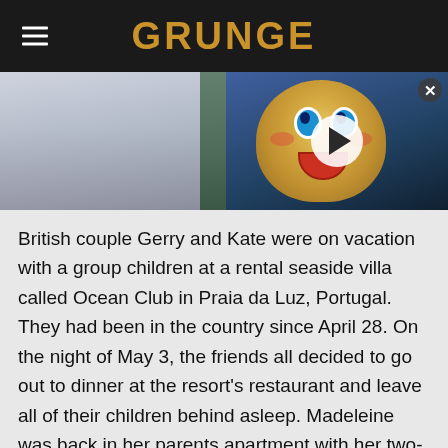GRUNGE
[Figure (photo): Photo of British couple with a video overlay showing an animated doll/mascot with a play button, from a sports arena setting]
British couple Gerry and Kate were on vacation with a group children at a rental seaside villa called Ocean Club in Praia da Luz, Portugal. They had been in the country since April 28. On the night of May 3, the friends all decided to go out to dinner at the resort's restaurant and leave all of their children behind asleep. Madeleine was back in her parents apartment with her two-year-old twin siblings. According to BBC, the parents had all agreed to watch the children one by one with a rotation system – checking on them on every 10-15 minutes. The system